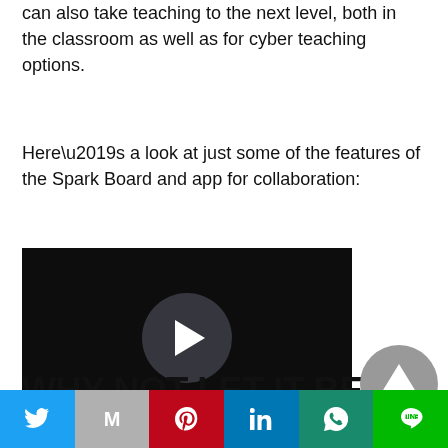can also take teaching to the next level, both in the classroom as well as for cyber teaching options.
Here’s a look at just some of the features of the Spark Board and app for collaboration:
[Figure (other): Video player thumbnail with black background and circular play button in the center]
WHY NOT LET IT BE PART O
[Figure (other): Scroll-to-top button: grey circle with upward-pointing triangle]
Social share bar with Twitter, Gmail, Pinterest, LinkedIn, WhatsApp, LINE buttons